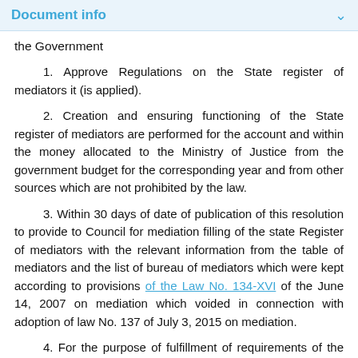Document info
the Government
1. Approve Regulations on the State register of mediators it (is applied).
2. Creation and ensuring functioning of the State register of mediators are performed for the account and within the money allocated to the Ministry of Justice from the government budget for the corresponding year and from other sources which are not prohibited by the law.
3. Within 30 days of date of publication of this resolution to provide to Council for mediation filling of the state Register of mediators with the relevant information from the table of mediators and the list of bureau of mediators which were kept according to provisions of the Law No. 134-XVI of the June 14, 2007 on mediation which voided in connection with adoption of law No. 137 of July 3, 2015 on mediation.
4. For the purpose of fulfillment of requirements of the Regulations on the State register of mediators to Council fo...